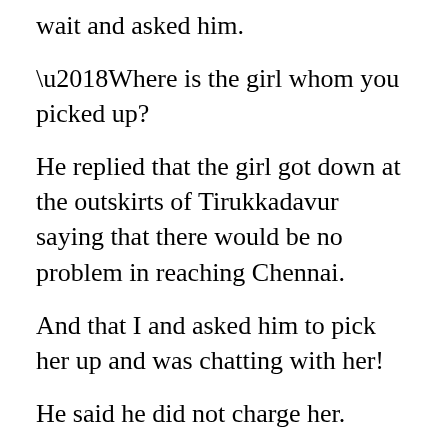wait and asked him.
‘Where is the girl whom you picked up?
He replied that the girl got down at the outskirts of Tirukkadavur saying that there would be no problem in reaching Chennai.
And that I and asked him to pick her up and was chatting with her!
He said he did not charge her.
We reached the Hospital.
My wife was looking normal and her oxygen had been removed.
She was able to talk and told me that some